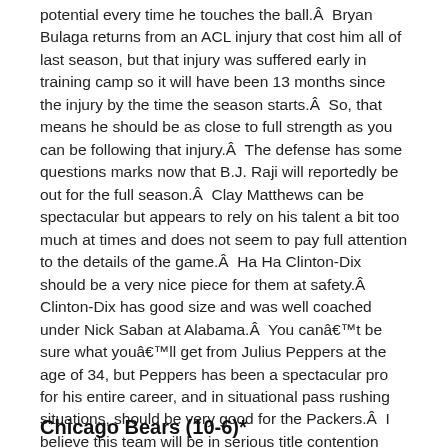potential every time he touches the ball.Â  Bryan Bulaga returns from an ACL injury that cost him all of last season, but that injury was suffered early in training camp so it will have been 13 months since the injury by the time the season starts.Â  So, that means he should be as close to full strength as you can be following that injury.Â  The defense has some questions marks now that B.J. Raji will reportedly be out for the full season.Â  Clay Matthews can be spectacular but appears to rely on his talent a bit too much at times and does not seem to pay full attention to the details of the game.Â  Ha Ha Clinton-Dix should be a very nice piece for them at safety.Â  Clinton-Dix has good size and was well coached under Nick Saban at Alabama.Â  You canâ€™t be sure what youâ€™ll get from Julius Peppers at the age of 34, but Peppers has been a spectacular pro for his entire career, and in situational pass rushing situations, should be very good for the Packers.Â  I believe this team will be in serious title contention and that will help with Matthews focus.Â  This team should be hungry since it is now going on four years since their last Super Bowl Championship.Â  Enough of the key players from that team are still here for this team to have everyone playing at a championship level.
Chicago Bears (10-6)*